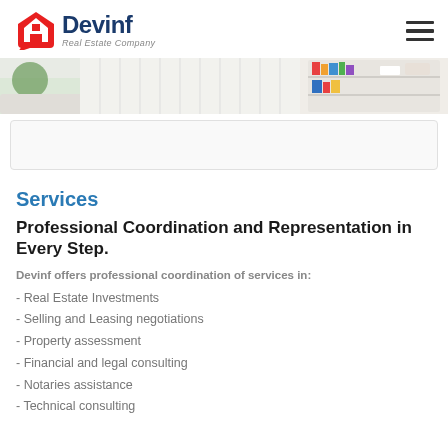Devinf Real Estate Company
[Figure (photo): Interior room photo showing white furniture, shelving with books, and modern decor]
Services
Professional Coordination and Representation in Every Step.
Devinf offers professional coordination of services in:
- Real Estate Investments
- Selling and Leasing negotiations
- Property assessment
- Financial and legal consulting
- Notaries assistance
- Technical consulting